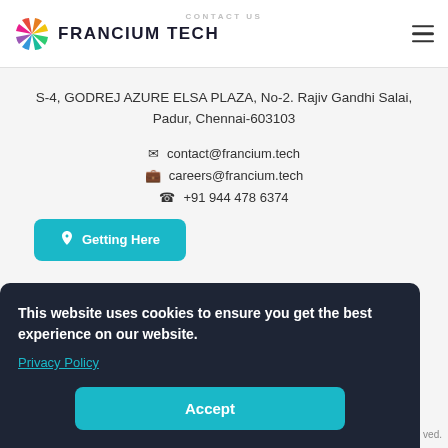[Figure (logo): Francium Tech colorful pinwheel logo with navy text 'FRANCIUM TECH']
CONTACT US
S-4, GODREJ AZURE ELSA PLAZA, No-2. Rajiv Gandhi Salai, Padur, Chennai-603103
contact@francium.tech
careers@francium.tech
+91 944 478 6374
Getting Here
This website uses cookies to ensure you get the best experience on our website.
Privacy Policy
Accept
ved.